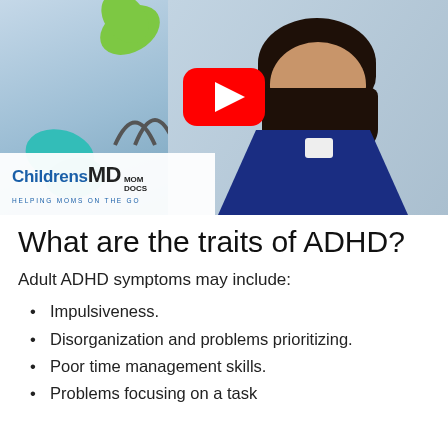[Figure (screenshot): Video thumbnail showing a smiling woman in a navy/white patterned sleeveless top with colorful abstract shapes in the background, a YouTube play button overlay, and the ChildrensMD Mom Docs logo in the bottom-left corner.]
What are the traits of ADHD?
Adult ADHD symptoms may include:
Impulsiveness.
Disorganization and problems prioritizing.
Poor time management skills.
Problems focusing on a task (partial, cut off at bottom)